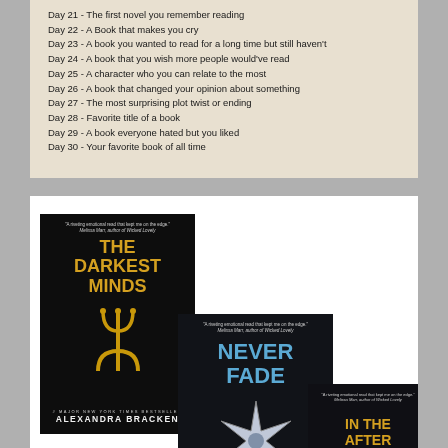Day 21 - The first novel you remember reading
Day 22 - A Book that makes you cry
Day 23 - A book you wanted to read for a long time but still haven't
Day 24 - A book that you wish more people would've read
Day 25 - A character who you can relate to the most
Day 26 - A book that changed your opinion about something
Day 27 - The most surprising plot twist or ending
Day 28 - Favorite title of a book
Day 29 - A book everyone hated but you liked
Day 30 - Your favorite book of all time
[Figure (photo): Three book covers from Alexandra Bracken's Darkest Minds series: 'The Darkest Minds', 'Never Fade', and 'In the After Light', overlapping each other on a white background.]